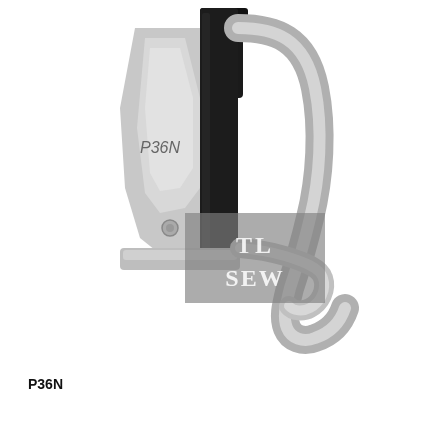[Figure (photo): Close-up product photo of a sewing machine presser foot labeled P36N. The foot is metallic silver/chrome with a black shank attachment. It has a distinctive scrolled toe and a small round screw visible on the side. A watermark reading 'TL SEW' appears overlaid on the lower center of the image against a gray rectangle. The background is white.]
P36N